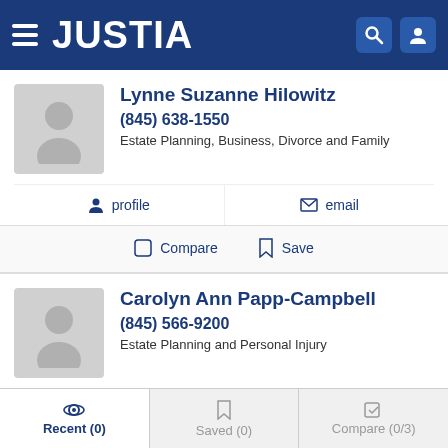JUSTIA
Lynne Suzanne Hilowitz
(845) 638-1550
Estate Planning, Business, Divorce and Family
profile  email
Compare  Save
Carolyn Ann Papp-Campbell
(845) 566-9200
Estate Planning and Personal Injury
profile  email
Recent (0)  Saved (0)  Compare (0/3)